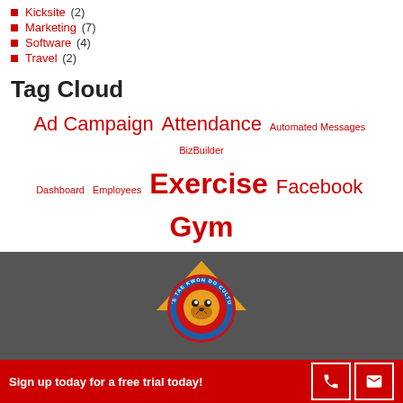Kicksite (2)
Marketing (7)
Software (4)
Travel (2)
Tag Cloud
Ad Campaign Attendance Automated Messages BizBuilder Dashboard Employees Exercise Facebook Gym Kicksite Team Leads Legal Memberships Metrics SuperShow Tools Website World Masters
[Figure (logo): Circular martial arts logo with tiger and text 'TAE KWON DO CULTU...' with gold triangular chevron design]
Sign up today for a free trial today!